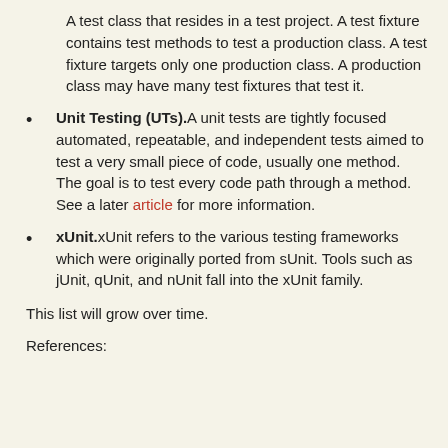A test class that resides in a test project. A test fixture contains test methods to test a production class. A test fixture targets only one production class. A production class may have many test fixtures that test it.
Unit Testing (UTs). A unit tests are tightly focused automated, repeatable, and independent tests aimed to test a very small piece of code, usually one method. The goal is to test every code path through a method. See a later article for more information.
xUnit. xUnit refers to the various testing frameworks which were originally ported from sUnit. Tools such as jUnit, qUnit, and nUnit fall into the xUnit family.
This list will grow over time.
References: